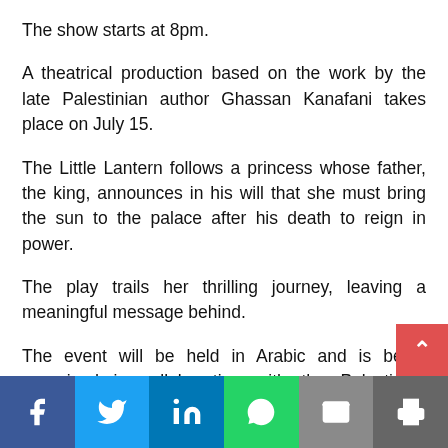The show starts at 8pm.
A theatrical production based on the work by the late Palestinian author Ghassan Kanafani takes place on July 15.
The Little Lantern follows a princess whose father, the king, announces in his will that she must bring the sun to the palace after his death to reign in power.
The play trails her thrilling journey, leaving a meaningful message behind.
The event will be held in Arabic and is being organised in collaboration with the Palestinian Embassy in Bahrai
Social share bar: Facebook, Twitter, LinkedIn, WhatsApp, Email, Print